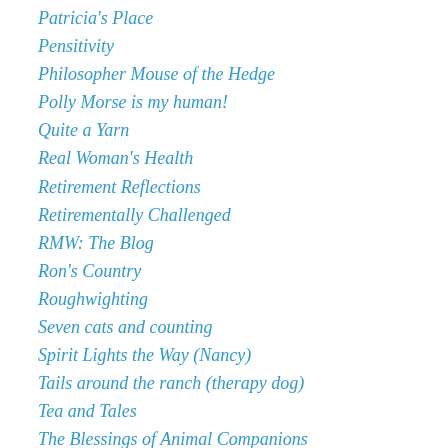Patricia's Place
Pensitivity
Philosopher Mouse of the Hedge
Polly Morse is my human!
Quite a Yarn
Real Woman's Health
Retirement Reflections
Retirementally Challenged
RMW: The Blog
Ron's Country
Roughwighting
Seven cats and counting
Spirit Lights the Way (Nancy)
Tails around the ranch (therapy dog)
Tea and Tales
The Blessings of Animal Companions
The Coastal Crone
The home place web
The off key of life (George)
The Pilgrim